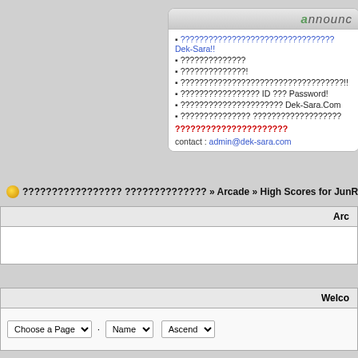[Figure (screenshot): Announcement box with header 'announc' and list of items with question marks, red text link, and contact email]
????????????????? ?????????????? » Arcade » High Scores for JunRa
| Arc |
| --- |
|  |
| Welco |
| --- |
| Choose a Page | Name | Ascend |